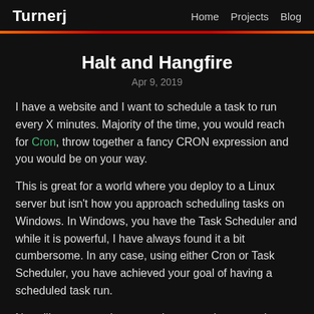Turnerj   Home   Projects   Blog
Halt and Hangfire
Apr 9, 2019
I have a website and I want to schedule a task to run every X minutes. Majority of the time, you would reach for Cron, throw together a fancy CRON expression and you would be on your way.
This is great for a world where you deploy to a Linux server but isn't how you approach scheduling tasks on Windows. In Windows, you have the Task Scheduler and while it is powerful, I have always found it a bit cumbersome. In any case, using either Cron or Task Scheduler, you have achieved your goal of having a scheduled task run.
Now, like many projects, requirements change and you not only need a scheduled task but adhoc background